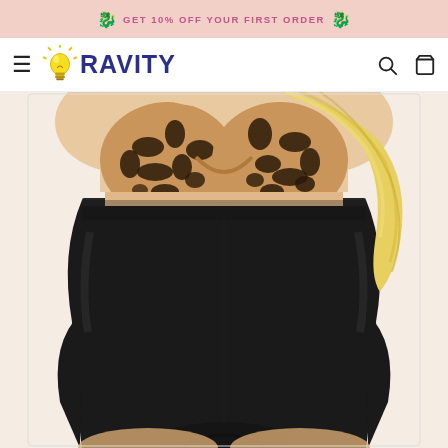RAVITY — promotional banner with decorative elements
[Figure (screenshot): RAVITY e-commerce website screenshot showing navigation bar with hamburger menu, lightbulb logo, RAVITY brand name in dark blue, search icon, and cart icon]
[Figure (photo): Product photo of a woman wearing a black shapewear high-waist thong bodysuit with a leopard print bikini top, shown from chest to hips against a light peach background]